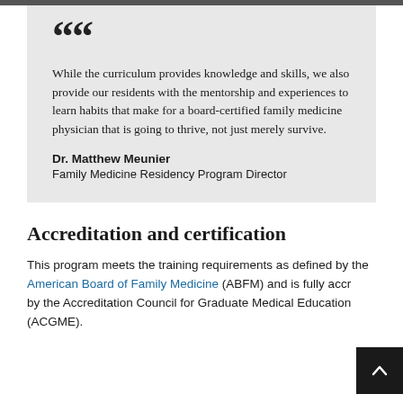While the curriculum provides knowledge and skills, we also provide our residents with the mentorship and experiences to learn habits that make for a board-certified family medicine physician that is going to thrive, not just merely survive.
Dr. Matthew Meunier
Family Medicine Residency Program Director
Accreditation and certification
This program meets the training requirements as defined by the American Board of Family Medicine (ABFM) and is fully accredited by the Accreditation Council for Graduate Medical Education (ACGME).